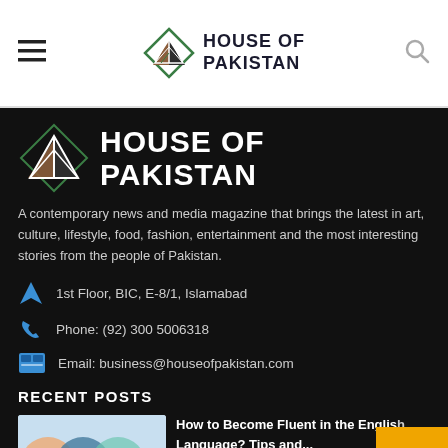HOUSE OF PAKISTAN
[Figure (logo): House of Pakistan logo - large white tent/diamond icon with HOUSE OF PAKISTAN text in white bold uppercase on dark background]
A contemporary news and media magazine that brings the latest in art, culture, lifestyle, food, fashion, entertainment and the most interesting stories from the people of Pakistan.
1st Floor, BIC, E-8/1, Islamabad
Phone: (92) 300 5006318
Email: business@houseofpakistan.com
RECENT POSTS
How to Become Fluent in the English Language? Tips and...